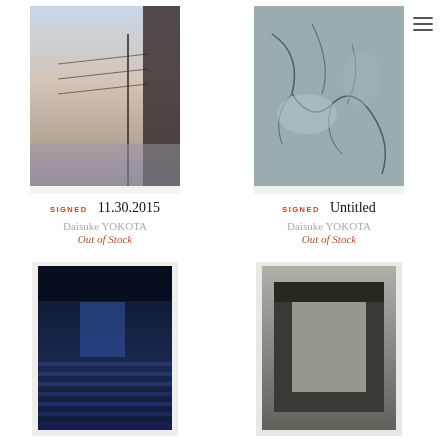[Figure (photo): Book cover showing a twilight seascape or harbor scene with power lines, warm blue-pink sky, small format book]
SIGNED  11.30.2015
Daisuke YOKOTA
Out of Stock
[Figure (photo): Book cover showing cracked dry earth or concrete surface, blue-grey tones, small format book]
SIGNED  Untitled
Daisuke YOKOTA
Out of Stock
[Figure (photo): Book cover showing a blue night scene with stairs or corridor leading into darkness, deep blue tones]
[Figure (photo): Book cover showing an architectural interior, a concrete box or well viewed from above, monochrome tones]